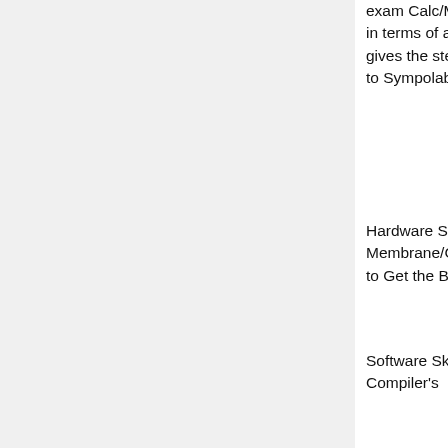exam Calc/Machine.The Calculator takes input from the User in terms of a completely formed mathematical problem and gives the step wise output on the display. Something similar to Sympolab or Wolfgram Alpha.
Hardware Skills: Medium. Ability to Interface/Integrate a Membrane/Capacitive Keyboard and a Matrix display.Ability to Get the Beagle running on a Lithium Ion thin Battery.
Software Skills: Python, C/C++, Linux, Knowledge of Compiler's
Possible Mentors: Pac23
Upstream Repository: N/A
Refrences: N/A
Security and Privacy